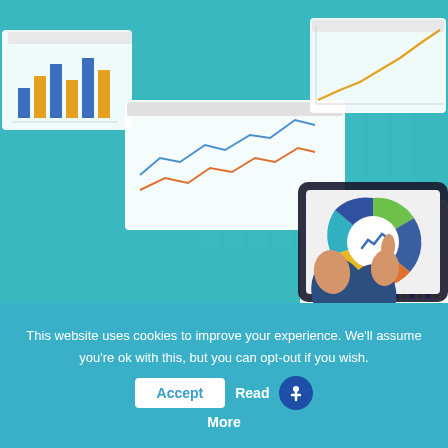[Figure (illustration): Flat design illustration of hands holding a tablet displaying a donut chart with analytics icon, surrounded by floating dashboard panels showing bar charts, line charts on a teal background]
This website uses cookies to improve your experience. We'll assume you're ok with this, but you can opt-out if you wish.
Accept
Read More